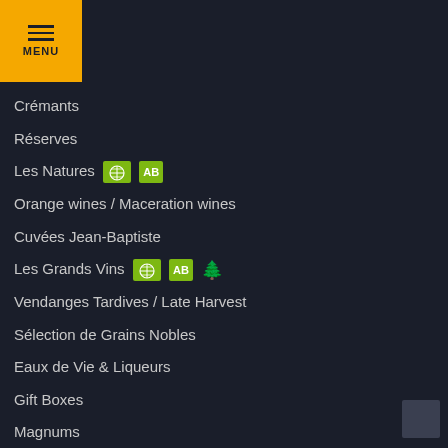[Figure (other): Yellow MENU button with hamburger icon in top-left corner]
Crémants
Réserves
Les Natures [bio badge] [AB badge]
Orange wines / Maceration wines
Cuvées Jean-Baptiste
Les Grands Vins [bio badge] [AB badge] [tree badge]
Vendanges Tardives / Late Harvest
Sélection de Grains Nobles
Eaux de Vie & Liqueurs
Gift Boxes
Magnums
Cépages
Gift Cards
Sunny days wines